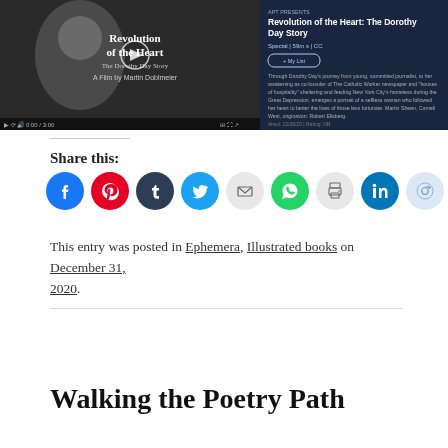[Figure (screenshot): Screenshot of a PBS-style video page for 'Revolution of the Heart: The Dorothy Day Story', showing a video player with a black and white portrait of Dorothy Day and title text overlay, alongside program description text on a dark blue background.]
Share this:
[Figure (infographic): Row of social media share buttons: Facebook (blue), Pinterest (red), Tumblr (dark blue), Twitter (light blue), Email (grey), WhatsApp (green), Print (grey), LinkedIn (dark blue), Reddit (light blue)]
This entry was posted in Ephemera, Illustrated books on December 31, 2020.
Walking the Poetry Path